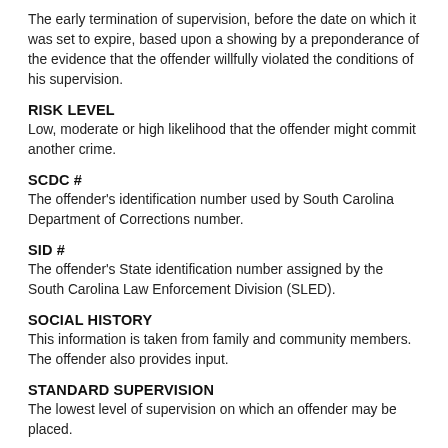The early termination of supervision, before the date on which it was set to expire, based upon a showing by a preponderance of the evidence that the offender willfully violated the conditions of his supervision.
RISK LEVEL
Low, moderate or high likelihood that the offender might commit another crime.
SCDC #
The offender's identification number used by South Carolina Department of Corrections number.
SID #
The offender's State identification number assigned by the South Carolina Law Enforcement Division (SLED).
SOCIAL HISTORY
This information is taken from family and community members. The offender also provides input.
STANDARD SUPERVISION
The lowest level of supervision on which an offender may be placed.
SUSPENDED SENTENCE
Actual time imposed.
VICTIM STATEMENTS
The pre-parole investigator obtains statements from victims after locating a current address. The agency is required by law to notify all